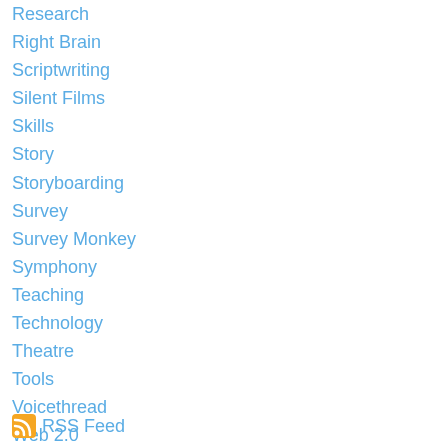Research
Right Brain
Scriptwriting
Silent Films
Skills
Story
Storyboarding
Survey
Survey Monkey
Symphony
Teaching
Technology
Theatre
Tools
Voicethread
Web 2.0
Web2.0
Wikispaces
Word
RSS Feed